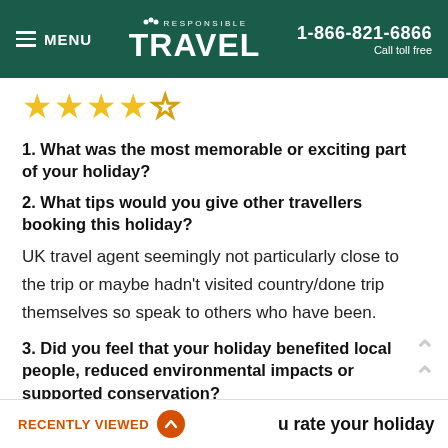MENU | RESPONSIBLE TRAVEL | 1-866-821-6866 Call toll free
[Figure (other): 4.5 star rating shown with 4 filled gold stars and 1 empty/outline star]
1. What was the most memorable or exciting part of your holiday?
2. What tips would you give other travellers booking this holiday?
UK travel agent seemingly not particularly close to the trip or maybe hadn't visited country/done trip themselves so speak to others who have been.
3. Did you feel that your holiday benefited local people, reduced environmental impacts or supported conservation?
Local people.
RECENTLY VIEWED | u rate your holiday